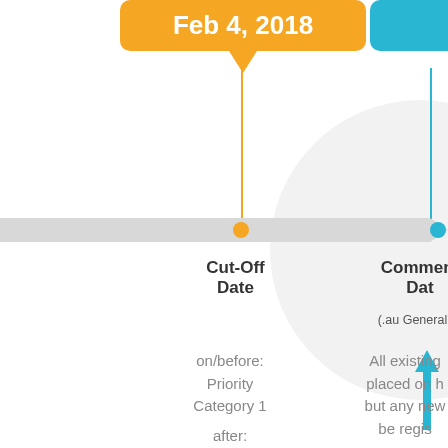[Figure (infographic): Timeline infographic showing key dates for .au domain registration. Orange speech bubble shows 'Feb 4, 2018' as Cut-Off Date, partially visible blue speech bubble shows 'Ma...' as Commencement Date. A horizontal gray arrow timeline band with orange and blue dots. Below: Cut-Off Date column describes on/before: Priority Category 1 and after: Priority Category 2. Commencement Date column notes (.au General A...) and All existing... placed on h... but any new... be regis...]